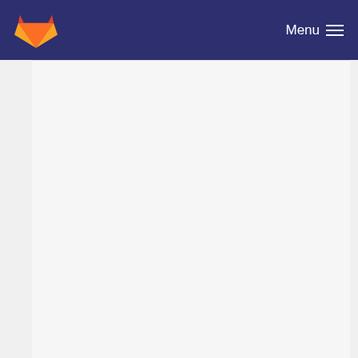GitLab Menu
Moved debugging functions in ProblemVec to a ne... Thomas Witkowski committed 12 years ago
Complete AMDiS tree moved to trunk/AMDiS. Peter Gottschling committed 14 years ago